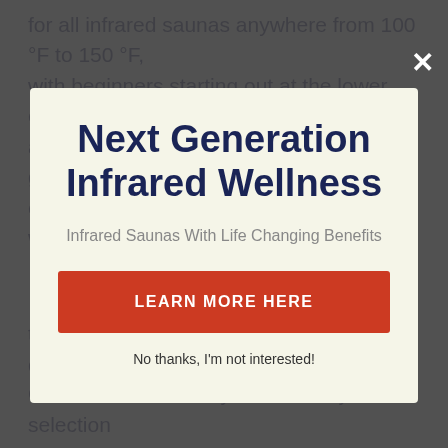for all infrared saunas anywhere from 100 °F to 150 °F, with beginners starting out at the lower end and also even more skilled individuals at the greater end. If this is your very first time, begin with 100 °F.
Next Generation Infrared Wellness
Infrared Saunas With Life Changing Benefits
LEARN MORE HERE
No thanks, I'm not interested!
too long as well as risk coming to be dehydrated.
Garments. Just how you dress is your selection